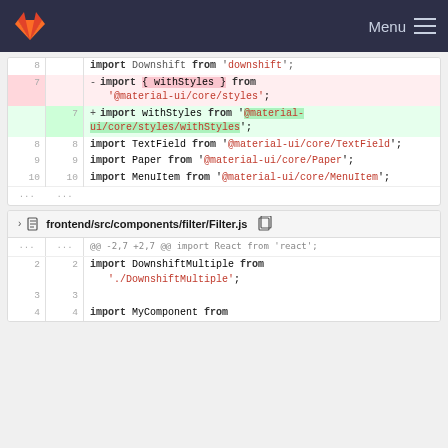GitLab navigation bar with logo and Menu
Diff view: line 7 removed: import { withStyles } from '@material-ui/core/styles';
Diff view: line 7 added: import withStyles from '@material-ui/core/styles/withStyles';
Line 8: import TextField from '@material-ui/core/TextField';
Line 9: import Paper from '@material-ui/core/Paper';
Line 10: import MenuItem from '@material-ui/core/MenuItem';
frontend/src/components/filter/Filter.js
@@ -2,7 +2,7 @@ import React from 'react';
Line 2: import DownshiftMultiple from './DownshiftMultiple';
Line 3: (blank)
Line 4: import MyComponent from ...